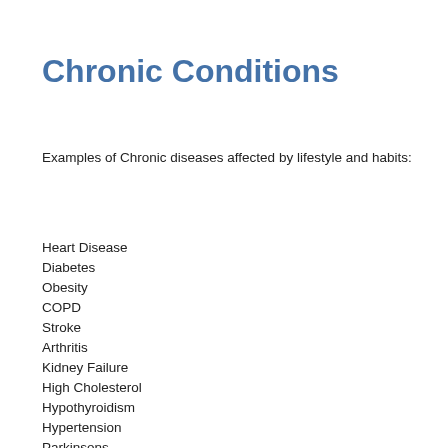Chronic Conditions
Examples of Chronic diseases affected by lifestyle and habits:
Heart Disease
Diabetes
Obesity
COPD
Stroke
Arthritis
Kidney Failure
High Cholesterol
Hypothyroidism
Hypertension
Parkinsons
Depression
Insomnia
Anxiety